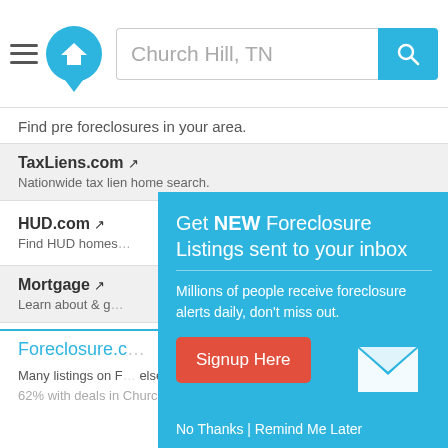[Figure (screenshot): Website header with hamburger menu, home logo, search bar with 'Church Hill, TN' text, and blue search button]
Find pre foreclosures in your area.
TaxLiens.com - Nationwide tax lien home search.
HUD.com - Find HUD homes
Mortgage - Learn about & g
Foreclosure.c
Many listings on F else. Save thousa Church Hill, TN. Save up to 62% with deals in Church Hill, TN.
[Figure (infographic): Popup overlay on teal/blue background with email signup call-to-action. Title: 'Get NEW Foreclosure Listings sent to your inbox'. Subtext: 'Millions of people receive foreclosure alerts daily, don't miss out.' Signup Here button in red/orange. No Thanks | Remind Me Later links. Envelope icon illustration.]